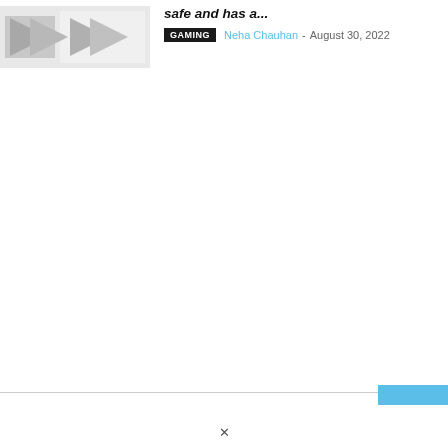[Figure (photo): Thumbnail image with gray geometric shapes on light background]
safe and has a...
GAMING  Neha Chauhan - August 30, 2022